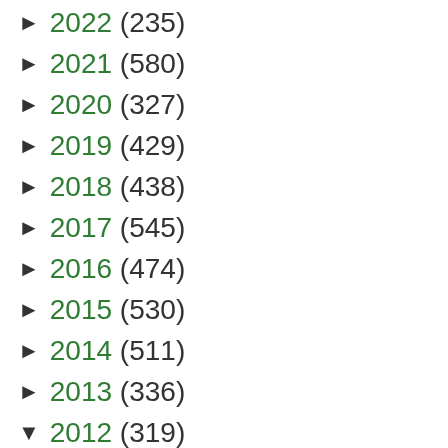► 2022 (235)
► 2021 (580)
► 2020 (327)
► 2019 (429)
► 2018 (438)
► 2017 (545)
► 2016 (474)
► 2015 (530)
► 2014 (511)
► 2013 (336)
▼ 2012 (319)
► December (27)
► November (29)
► October (30)
► September (32)